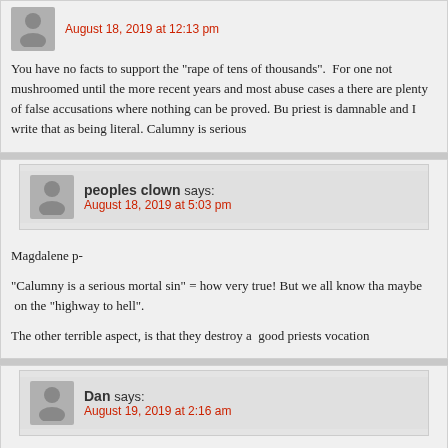August 18, 2019 at 12:13 pm
You have no facts to support the "rape of tens of thousands".  For one not mushroomed until the more recent years and most abuse cases a there are plenty of false accusations where nothing can be proved. Bu priest is damnable and I write that as being literal. Calumny is serious
peoples clown says:
August 18, 2019 at 5:03 pm
Magdalene p-
"Calumny is a serious mortal sin" = how very true! But we all know tha maybe  on the "highway to hell".
The other terrible aspect, is that they destroy a  good priests vocation
Dan says:
August 19, 2019 at 2:16 am
Both you and Magdalene are condemning your own hierarchy, becaus